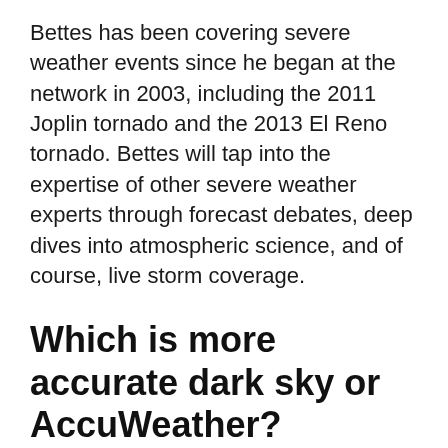Bettes has been covering severe weather events since he began at the network in 2003, including the 2011 Joplin tornado and the 2013 El Reno tornado. Bettes will tap into the expertise of other severe weather experts through forecast debates, deep dives into atmospheric science, and of course, live storm coverage.
Which is more accurate dark sky or AccuWeather?
“We have over 125 expert meteorologists at Accuweather, and they’re able to hone in on specific impacts and enhance those forecasts even further.” … In comparison, Dark Sky and World Weather Online, the eighth and ninth most accurate forecasting